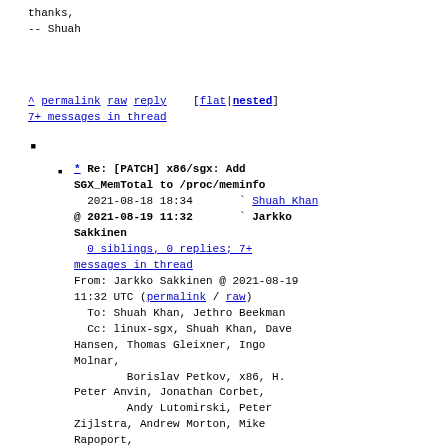thanks,
-- Shuah
^ permalink raw reply    [flat|nested]
7+ messages in thread
* Re: [PATCH] x86/sgx: Add SGX_MemTotal to /proc/meminfo
  2021-08-18 18:34     ` Shuah Khan
@ 2021-08-19 11:32     ` Jarkko Sakkinen
  0 siblings, 0 replies; 7+ messages in thread
From: Jarkko Sakkinen @ 2021-08-19 11:32 UTC (permalink / raw)
  To: Shuah Khan, Jethro Beekman
  Cc: linux-sgx, Shuah Khan, Dave Hansen, Thomas Gleixner, Ingo Molnar,
        Borislav Petkov, x86, H. Peter Anvin, Jonathan Corbet,
        Andy Lutomirski, Peter Zijlstra, Andrew Morton, Mike Rapoport,
        Kirill A. Shutemov